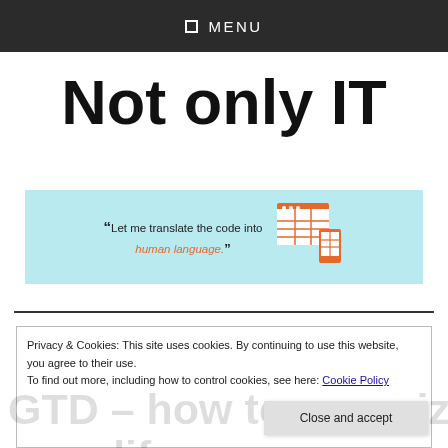☰ MENU
Not only IT
[Figure (illustration): Light blue banner with quote text: "Let me translate the code into human language." alongside an orange icon of a computer/tablet displaying a table/grid interface.]
Privacy & Cookies: This site uses cookies. By continuing to use this website, you agree to their use.
To find out more, including how to control cookies, see here: Cookie Policy
GTD – how to organize your life
Close and accept